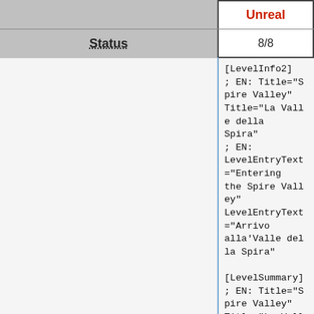| Game
Status | Unreal
8/8 |
| --- | --- |
[LevelInfo2]
; EN: Title="Spire Valley"
Title="La Valle della Spira"
; EN: LevelEntryText="Entering the Spire Valley"
LevelEntryText="Arrivo alla'Valle della Spira"

[LevelSummary]
; EN: Title="Spire Valley"
Title="La Valle della Spira"
; EN: LevelEntryText="Entering the Spire Valley"
LevelEntryText="Arrivo alla'Valle della Spira"

[TranslatorEvent7]
; EN: Message="Land of